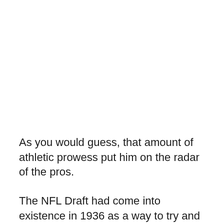As you would guess, that amount of athletic prowess put him on the radar of the pros.
The NFL Draft had come into existence in 1936 as a way to try and appease owners of some of the lower rung franchises. The first two editions went by without any UNC players being selected, however that would change in 1938. In the fifth round, with the 36th overall